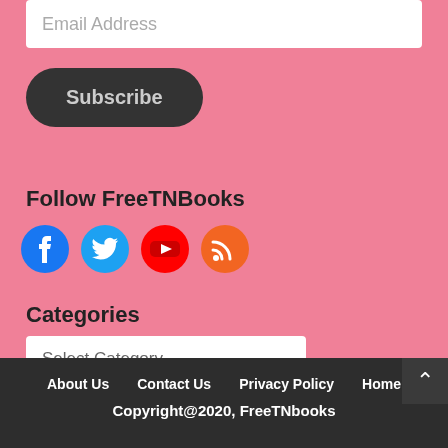Email Address
Subscribe
Follow FreeTNBooks
[Figure (infographic): Social media icons: Facebook, Twitter, YouTube, RSS feed]
Categories
Select Category
About Us   Contact Us   Privacy Policy   Home   Copyright@2020, FreeTNbooks